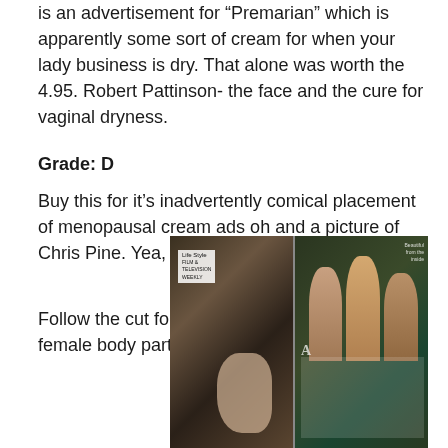is an advertisement for “Premarian” which is apparently some sort of cream for when your lady business is dry. That alone was worth the 4.95. Robert Pattinson- the face and the cure for vaginal dryness.
Grade: D
Buy this for it’s inadvertently comical placement of menopausal cream ads oh and a picture of Chris Pine. Yea, that’s ALWAYS good.
Follow the cut for more advertisements for dry female body parts… and Rob…
[Figure (photo): A hand holding open a magazine, showing two pages — the left page has a close-up of a person's head/hair with a ‘Life Style’ label, the right page shows three people posing together against a dark/green background with text columns.]